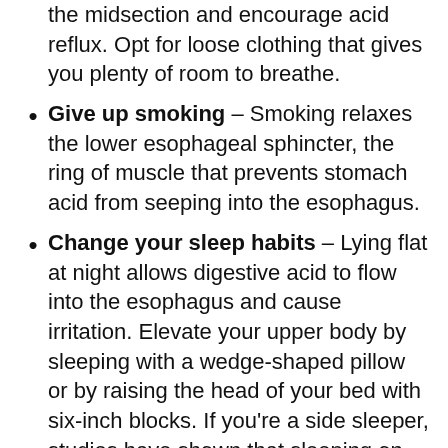the midsection and encourage acid reflux. Opt for loose clothing that gives you plenty of room to breathe.
Give up smoking – Smoking relaxes the lower esophageal sphincter, the ring of muscle that prevents stomach acid from seeping into the esophagus.
Change your sleep habits – Lying flat at night allows digestive acid to flow into the esophagus and cause irritation. Elevate your upper body by sleeping with a wedge-shaped pillow or by raising the head of your bed with six-inch blocks. If you're a side sleeper, studies have shown that sleeping on your left side is better at preventing heartburn than sleeping on your right side.
Lifestyle changes are excellent ways to